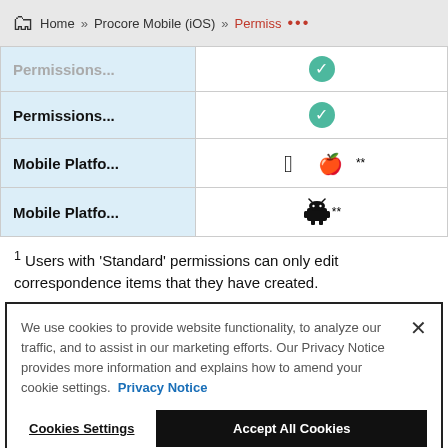Home » Procore Mobile (iOS) » Permiss ...
|  |  |
| --- | --- |
| Permissions... | ✓ |
| Permissions... | ✓ |
| Mobile Platfo... | 🍎 ** |
| Mobile Platfo... | 🤖 ** |
1 Users with 'Standard' permissions can only edit correspondence items that they have created.
We use cookies to provide website functionality, to analyze our traffic, and to assist in our marketing efforts. Our Privacy Notice provides more information and explains how to amend your cookie settings. Privacy Notice
Cookies Settings   Accept All Cookies